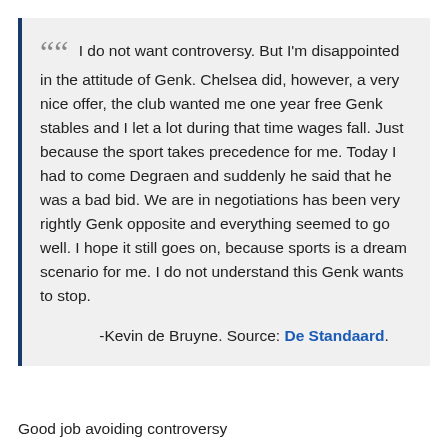I do not want controversy. But I'm disappointed in the attitude of Genk. Chelsea did, however, a very nice offer, the club wanted me one year free Genk stables and I let a lot during that time wages fall. Just because the sport takes precedence for me. Today I had to come Degraen and suddenly he said that he was a bad bid. We are in negotiations has been very rightly Genk opposite and everything seemed to go well. I hope it still goes on, because sports is a dream scenario for me. I do not understand this Genk wants to stop.
-Kevin de Bruyne. Source: De Standaard.
Good job avoiding controversy